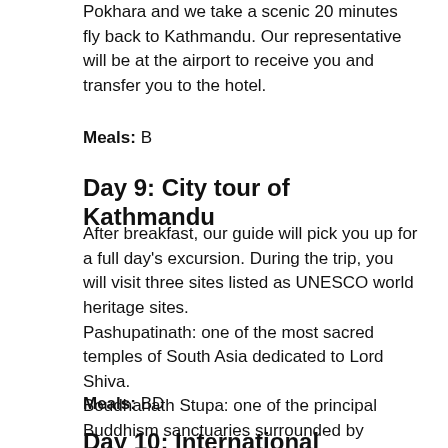Pokhara and we take a scenic 20 minutes fly back to Kathmandu. Our representative will be at the airport to receive you and transfer you to the hotel.
Meals: B
Day 9: City tour of Kathmandu
After breakfast, our guide will pick you up for a full day's excursion. During the trip, you will visit three sites listed as UNESCO world heritage sites.
Pashupatinath: one of the most sacred temples of South Asia dedicated to Lord Shiva.
Boudhanath Stupa: one of the principal Buddhism sanctuaries surrounded by numerous monasteries and Tibetan boutiques. Finally, Bhaktapur: this city is known for its sophisticated art, craft, colorful festivals and its unique culture. Later in the evening, you will be transferred to Le Sherpa Restaurant for a dinner.
Meals: BD
Day 10: International departure